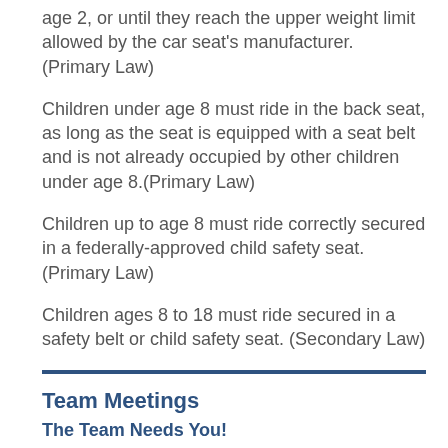age 2, or until they reach the upper weight limit allowed by the car seat's manufacturer. (Primary Law)
Children under age 8 must ride in the back seat, as long as the seat is equipped with a seat belt and is not already occupied by other children under age 8.(Primary Law)
Children up to age 8 must ride correctly secured in a federally-approved child safety seat. (Primary Law)
Children ages 8 to 18 must ride secured in a safety belt or child safety seat. (Secondary Law)
Team Meetings
The Team Needs You!